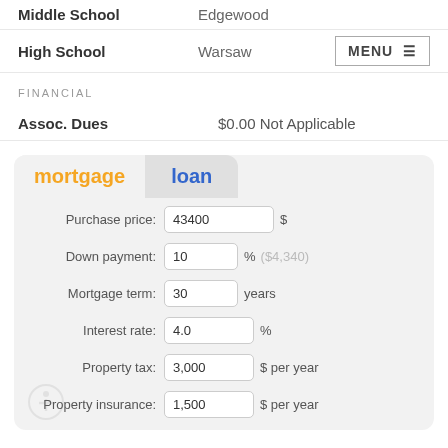Middle School	Edgewood
High School	Warsaw
MENU
FINANCIAL
Assoc. Dues	$0.00 Not Applicable
[Figure (screenshot): Mortgage/Loan calculator card with tabs 'mortgage' (orange, active) and 'loan' (blue, inactive). Fields: Purchase price: 43400 $, Down payment: 10 % ($4,340), Mortgage term: 30 years, Interest rate: 4.0 %, Property tax: 3,000 $ per year, Property insurance: 1,500 $ per year.]